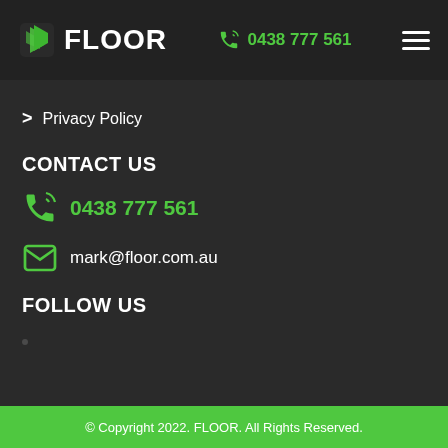FLOOR | 0438 777 561
Privacy Policy
CONTACT US
0438 777 561
mark@floor.com.au
FOLLOW US
© Copyright 2022. FLOOR. All Rights Reserved.